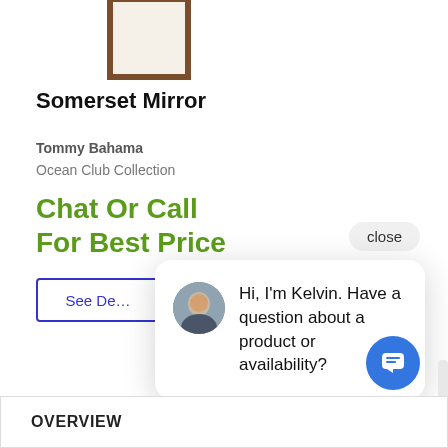[Figure (illustration): Product image of Somerset Mirror with brown wooden frame on white background]
Somerset Mirror
Tommy Bahama
Ocean Club Collection
Chat Or Call For Best Price
See De[tails]
[Figure (screenshot): Chat widget popup with avatar of Kelvin and message: Hi, I'm Kelvin. Have a question about a product or availability? With close button and blue chat button.]
OVERVIEW